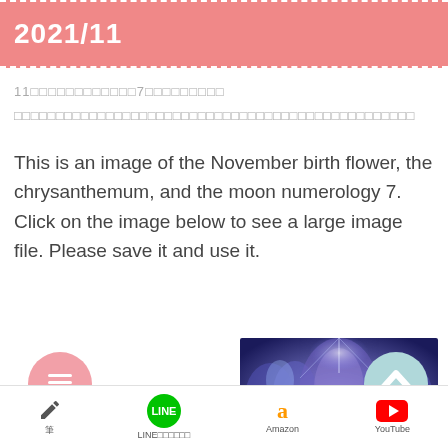2021/11
11□□□□□□□□□□□□7□□□□□□□□□
□□□□□□□□□□□□□□□□□□□□□□□□□□□□□□□□□□□□□□□□□□□□□□□□
This is an image of the November birth flower, the chrysanthemum, and the moon numerology 7. Click on the image below to see a large image file. Please save it and use it.
[Figure (photo): Artistic image of chrysanthemum flowers with purple and blue glowing tones, symmetric composition]
筆 | LINE□□□□□□ | Amazon | YouTube